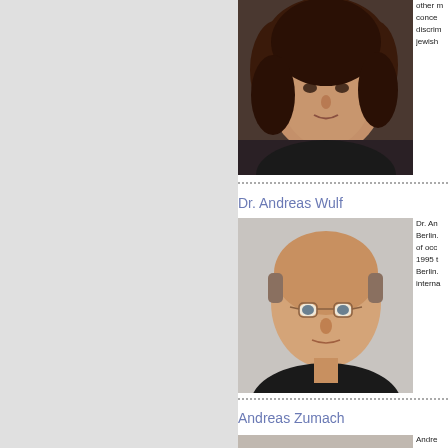[Figure (photo): Portrait photo of a woman with curly dark hair]
other ... conce... discrim... jewish...
Dr. Andreas Wulf
[Figure (photo): Portrait photo of a bald man wearing glasses]
Dr. An... Berlin... of occ... 1995 t... Berlin... interna...
Andreas Zumach
[Figure (photo): Partial portrait photo of Andreas Zumach]
Andre...